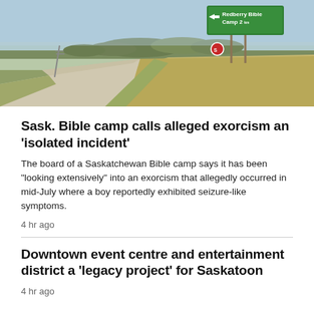[Figure (photo): Rural Saskatchewan road with gravel surface and grassy shoulder. A green road sign reading 'Redberry Bible Camp 2 km' with a left-pointing arrow is visible on the right side. Blue sky and distant trees in background.]
Sask. Bible camp calls alleged exorcism an 'isolated incident'
The board of a Saskatchewan Bible camp says it has been "looking extensively" into an exorcism that allegedly occurred in mid-July where a boy reportedly exhibited seizure-like symptoms.
4 hr ago
Downtown event centre and entertainment district a 'legacy project' for Saskatoon
4 hr ago